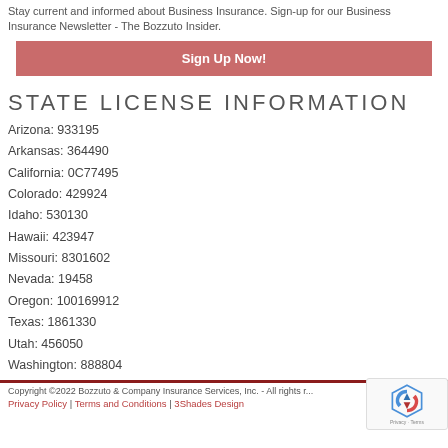Stay current and informed about Business Insurance. Sign-up for our Business Insurance Newsletter - The Bozzuto Insider.
Sign Up Now!
STATE LICENSE INFORMATION
Arizona: 933195
Arkansas: 364490
California: 0C77495
Colorado: 429924
Idaho: 530130
Hawaii: 423947
Missouri: 8301602
Nevada: 19458
Oregon: 100169912
Texas: 1861330
Utah: 456050
Washington: 888804
Copyright ©2022 Bozzuto & Company Insurance Services, Inc. - All rights reserved.
Privacy Policy | Terms and Conditions | 3Shades Design